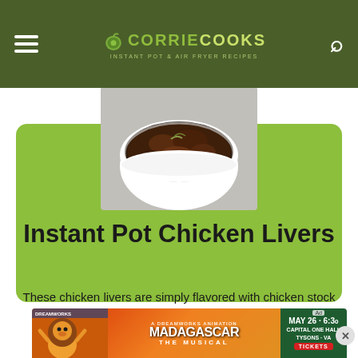CORRIE COOKS
[Figure (photo): A white bowl filled with chicken livers cooked in dark sauce, shot from above on a light gray surface]
Instant Pot Chicken Livers
These chicken livers are simply flavored with chicken stock and peppercorns.
[Figure (other): Advertisement banner for Madagascar The Musical, May 26 - 6:30, Capital One Hall, Tysons - VA, with TICKETS button]